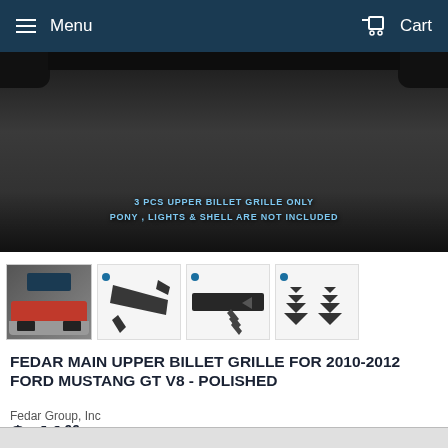Menu  Cart
[Figure (photo): Product photo of Ford Mustang with grille overlay text: '3 PCS UPPER BILLET GRILLE ONLY PONY , LIGHTS & SHELL ARE NOT INCLUDED']
[Figure (photo): Thumbnail 1: Red Ford Mustang GT front view with billet grille]
[Figure (photo): Thumbnail 2: Single billet grille piece on white background]
[Figure (photo): Thumbnail 3: Billet grille piece flat view on white background]
[Figure (photo): Thumbnail 4: Two small billet grille chevron/arrow pieces on white background]
FEDAR MAIN UPPER BILLET GRILLE FOR 2010-2012 FORD MUSTANG GT V8 - POLISHED
Fedar Group, Inc
$ 41 99